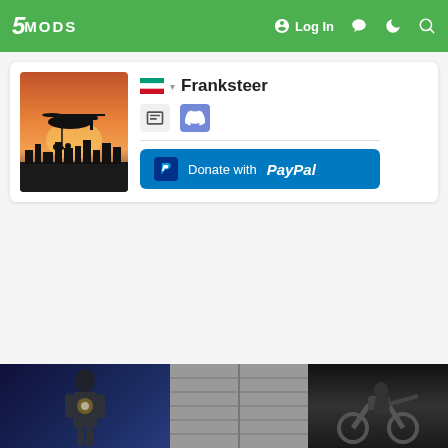5MODS | Log In
[Figure (screenshot): Profile card for user Franksteer on 5mods website, with avatar showing helicopter silhouette at sunset, flag icon, chat and Discord icons, and PayPal donate button]
Franksteer
[Figure (photo): Bottom strip showing three dark-themed game screenshots/thumbnails]